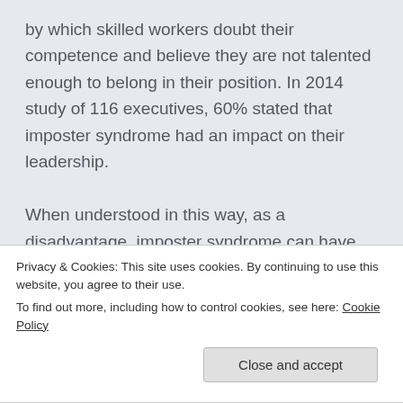by which skilled workers doubt their competence and believe they are not talented enough to belong in their position. In 2014 study of 116 executives, 60% stated that imposter syndrome had an impact on their leadership.

When understood in this way, as a disadvantage, imposter syndrome can have huge consequences on peoples' attitudes towards and behaviours at work. Some might overwork and refuse to ask for
Privacy & Cookies: This site uses cookies. By continuing to use this website, you agree to their use.
To find out more, including how to control cookies, see here: Cookie Policy
and begin to avoid feedback and opportunities for